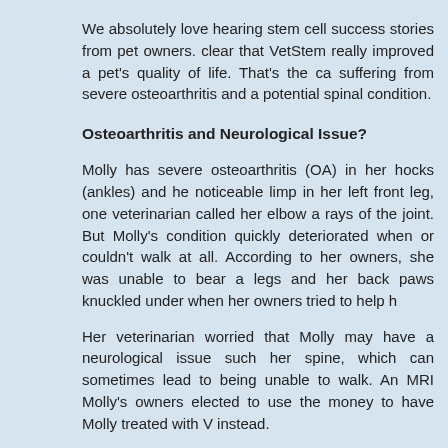We absolutely love hearing stem cell success stories from pet owners. clear that VetStem really improved a pet's quality of life. That's the ca suffering from severe osteoarthritis and a potential spinal condition.
Osteoarthritis and Neurological Issue?
Molly has severe osteoarthritis (OA) in her hocks (ankles) and he noticeable limp in her left front leg, one veterinarian called her elbow a rays of the joint. But Molly's condition quickly deteriorated when or couldn't walk at all. According to her owners, she was unable to bear a legs and her back paws knuckled under when her owners tried to help h
Her veterinarian worried that Molly may have a neurological issue such her spine, which can sometimes lead to being unable to walk. An MRI Molly's owners elected to use the money to have Molly treated with V instead.
Treatment with VetStem Cell Therapy
Molly's veterinarian, Dr. Rebecca Wolf of Metropolitan Veterinary Ass tissue from Molly's abdomen during a minimally invasive anesthetic pr shipped to the VetStem laboratory in Poway, California where VetStem concentrate the stem and regenerative cells contained therein. Molly's injections were shipped to Dr. Wolf for treatment. Approximately 48 hou received one stem cell injection into each hock, her left elbow, and intra
Molly Regains Her Ability to Walk!